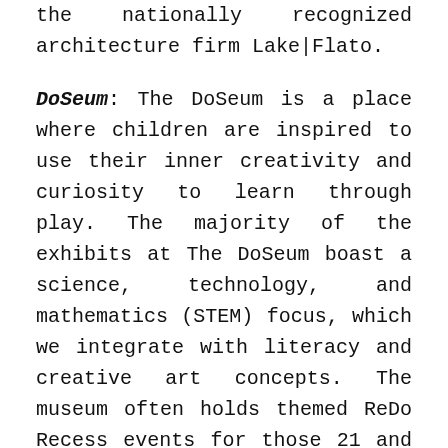the nationally recognized architecture firm Lake|Flato.
DoSeum: The DoSeum is a place where children are inspired to use their inner creativity and curiosity to learn through play. The majority of the exhibits at The DoSeum boast a science, technology, and mathematics (STEM) focus, which we integrate with literacy and creative art concepts. The museum often holds themed ReDo Recess events for those 21 and older. These events include live music, delicious food, specialized adult beverages, and a place to unleash your inner child.
El Mercado (Market Square): A three-block outdoor plaza lined with restaurants, shops and